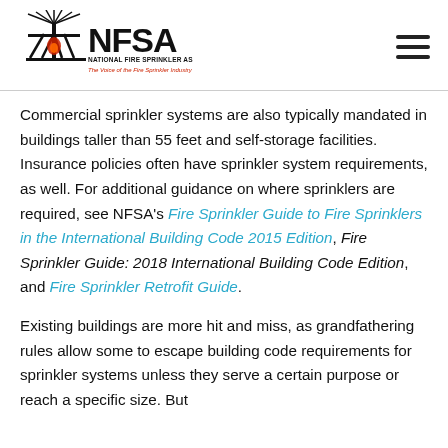[Figure (logo): NFSA National Fire Sprinkler Association logo with tagline 'The Voice of the Fire Sprinkler Industry']
Commercial sprinkler systems are also typically mandated in buildings taller than 55 feet and self-storage facilities. Insurance policies often have sprinkler system requirements, as well. For additional guidance on where sprinklers are required, see NFSA's Fire Sprinkler Guide to Fire Sprinklers in the International Building Code 2015 Edition, Fire Sprinkler Guide: 2018 International Building Code Edition, and Fire Sprinkler Retrofit Guide.
Existing buildings are more hit and miss, as grandfathering rules allow some to escape building code requirements for sprinkler systems unless they serve a certain purpose or reach a specific size. But